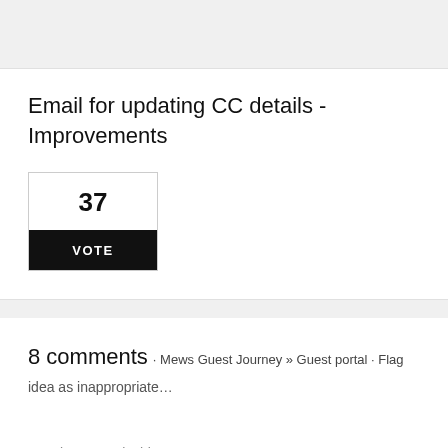Email for updating CC details - Improvements
37
VOTE
8 comments · Mews Guest Journey » Guest portal · Flag idea as inappropriate…
How important is this to you?
Not at all   Important   Critical